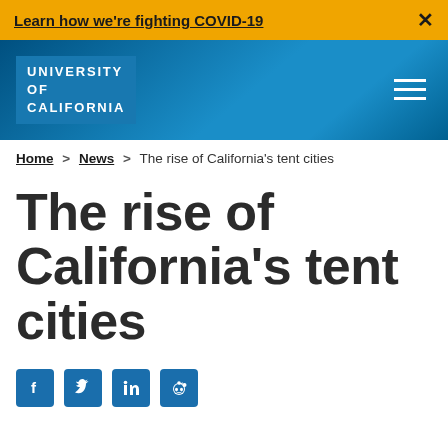Learn how we're fighting COVID-19
[Figure (logo): University of California logo/wordmark in blue header navigation bar with hamburger menu]
Home > News > The rise of California's tent cities
The rise of California's tent cities
[Figure (infographic): Social media sharing icons: Facebook, Twitter, LinkedIn, Reddit]